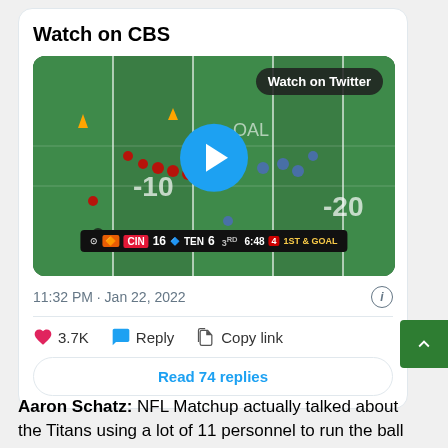Watch on CBS
[Figure (screenshot): NFL football game video thumbnail showing field play between Cincinnati Bengals (CIN 16) and Tennessee Titans (TEN 6) at 3rd down, 6:48, 1st & GOAL. A blue play button is overlaid in the center. A 'Watch on Twitter' badge appears in the top right corner.]
11:32 PM · Jan 22, 2022
3.7K   Reply   Copy link
Read 74 replies
Aaron Schatz: NFL Matchup actually talked about the Titans using a lot of 11 personnel to run the ball